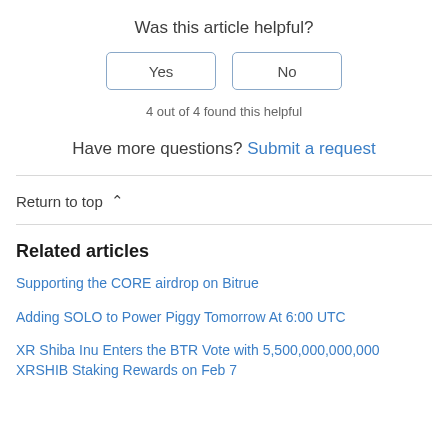Was this article helpful?
Yes | No
4 out of 4 found this helpful
Have more questions? Submit a request
Return to top ∧
Related articles
Supporting the CORE airdrop on Bitrue
Adding SOLO to Power Piggy Tomorrow At 6:00 UTC
XR Shiba Inu Enters the BTR Vote with 5,500,000,000,000 XRSHIB Staking Rewards on Feb 7